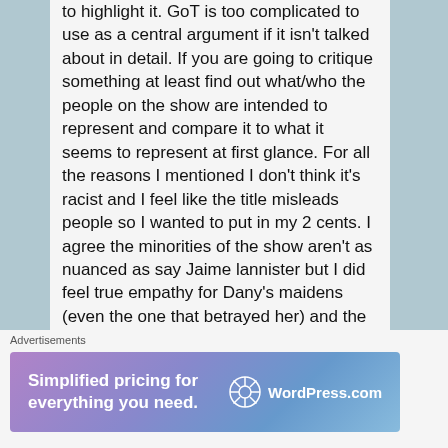to highlight it. GoT is too complicated to use as a central argument if it isn't talked about in detail. If you are going to critique something at least find out what/who the people on the show are intended to represent and compare it to what it seems to represent at first glance. For all the reasons I mentioned I don't think it's racist and I feel like the title misleads people so I wanted to put in my 2 cents. I agree the minorities of the show aren't as nuanced as say Jaime lannister but I did feel true empathy for Dany's maidens (even the one that betrayed her) and the younger dothraki brothers were painted in a bright light. But then again besides the Dothrakis
Advertisements
[Figure (infographic): WordPress.com advertisement banner with gradient purple-blue background. Text reads: 'Simplified pricing for everything you need.' with WordPress.com logo on the right.]